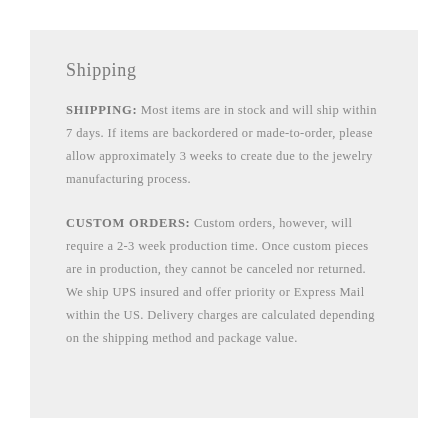Shipping
SHIPPING: Most items are in stock and will ship within 7 days. If items are backordered or made-to-order, please allow approximately 3 weeks to create due to the jewelry manufacturing process.
CUSTOM ORDERS: Custom orders, however, will require a 2-3 week production time. Once custom pieces are in production, they cannot be canceled nor returned. We ship UPS insured and offer priority or Express Mail within the US. Delivery charges are calculated depending on the shipping method and package value.